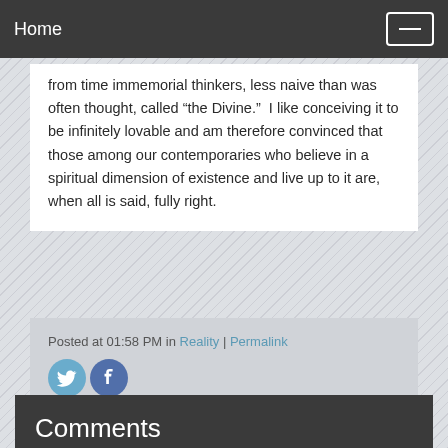Home
from time immemorial thinkers, less naive than was often thought, called “the Divine.”  I like conceiving it to be infinitely lovable and am therefore convinced that those among our contemporaries who believe in a spiritual dimension of existence and live up to it are, when all is said, fully right.
Posted at 01:58 PM in Reality | Permalink
[Figure (other): Twitter and Facebook social share icons]
Comments